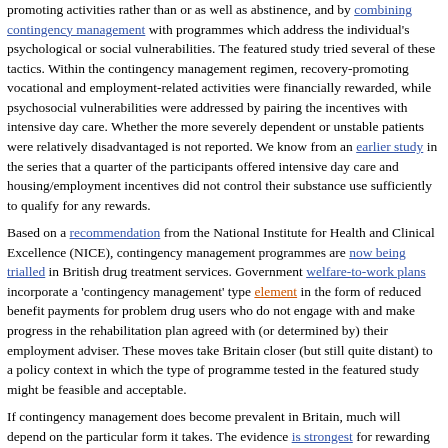promoting activities rather than or as well as abstinence, and by combining contingency management with programmes which address the individual's psychological or social vulnerabilities. The featured study tried several of these tactics. Within the contingency management regimen, recovery-promoting vocational and employment-related activities were financially rewarded, while psychosocial vulnerabilities were addressed by pairing the incentives with intensive day care. Whether the more severely dependent or unstable patients were relatively disadvantaged is not reported. We know from an earlier study in the series that a quarter of the participants offered intensive day care and housing/employment incentives did not control their substance use sufficiently to qualify for any rewards.
Based on a recommendation from the National Institute for Health and Clinical Excellence (NICE), contingency management programmes are now being trialled in British drug treatment services. Government welfare-to-work plans incorporate a 'contingency management' type element in the form of reduced benefit payments for problem drug users who do not engage with and make progress in the rehabilitation plan agreed with (or determined by) their employment adviser. These moves take Britain closer (but still quite distant) to a policy context in which the type of programme tested in the featured study might be feasible and acceptable.
If contingency management does become prevalent in Britain, much will depend on the particular form it takes. The evidence is strongest for rewarding desired behaviour and this is the approach staff and patients may be most comfortable with, but it risks a public and media backlash. Punishing undesired behaviour is less effective and risks counterproductive side effects, but may be more